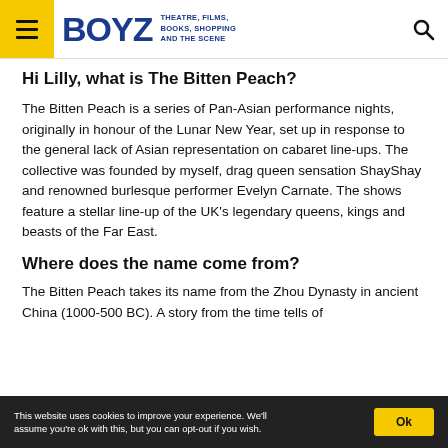BOYZ — THEATRE, FILMS, BOOKS, SHOPPING AND THE SCENE
Hi Lilly, what is The Bitten Peach?
The Bitten Peach is a series of Pan-Asian performance nights, originally in honour of the Lunar New Year, set up in response to the general lack of Asian representation on cabaret line-ups. The collective was founded by myself, drag queen sensation ShayShay and renowned burlesque performer Evelyn Carnate. The shows feature a stellar line-up of the UK's legendary queens, kings and beasts of the Far East.
Where does the name come from?
The Bitten Peach takes its name from the Zhou Dynasty in ancient China (1000-500 BC). A story from the time tells of
This website uses cookies to improve your experience. We'll assume you're ok with this, but you can opt-out if you wish.   Ok